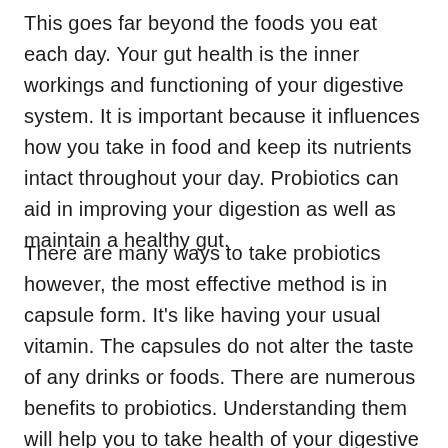This goes far beyond the foods you eat each day. Your gut health is the inner workings and functioning of your digestive system. It is important because it influences how you take in food and keep its nutrients intact throughout your day. Probiotics can aid in improving your digestion as well as maintain a healthy gut.
There are many ways to take probiotics however, the most effective method is in capsule form. It's like having your usual vitamin. The capsules do not alter the taste of any drinks or foods. There are numerous benefits to probiotics. Understanding them will help you to take health of your digestive system and ensure that you're not stressed out.